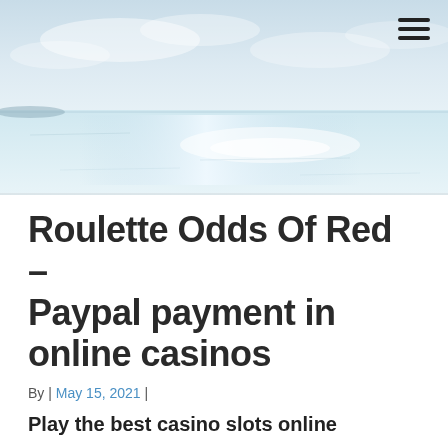[Figure (photo): Background hero image of a seascape with light reflecting off calm water, light blue and white tones, partially cloudy sky]
Roulette Odds Of Red – Paypal payment in online casinos
By | May 15, 2021 |
Play the best casino slots online
Best no deposit offers at online casinos slotomania offers a wide range of free slots replicating the Vegas style slot